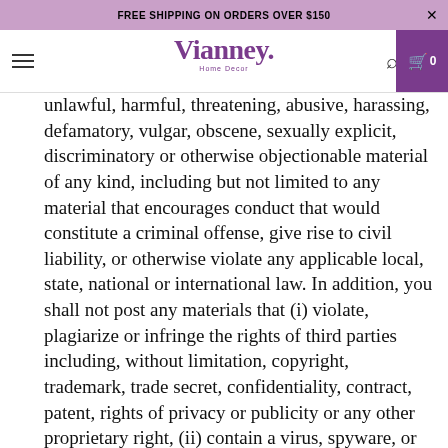FREE SHIPPING ON ORDERS OVER $150
[Figure (logo): Vianney Home Decor logo with navigation bar including hamburger menu, search icon, and cart showing 0 items]
unlawful, harmful, threatening, abusive, harassing, defamatory, vulgar, obscene, sexually explicit, discriminatory or otherwise objectionable material of any kind, including but not limited to any material that encourages conduct that would constitute a criminal offense, give rise to civil liability, or otherwise violate any applicable local, state, national or international law. In addition, you shall not post any materials that (i) violate, plagiarize or infringe the rights of third parties including, without limitation, copyright, trademark, trade secret, confidentiality, contract, patent, rights of privacy or publicity or any other proprietary right, (ii) contain a virus, spyware, or other harmful component, (iii) contain embedded links, advertising, chain letters or pyramid schemes of any kind, or (iv) constitute or contain false or misleading indications of origin, endorsement or statements of fact. You further agree not to impersonate